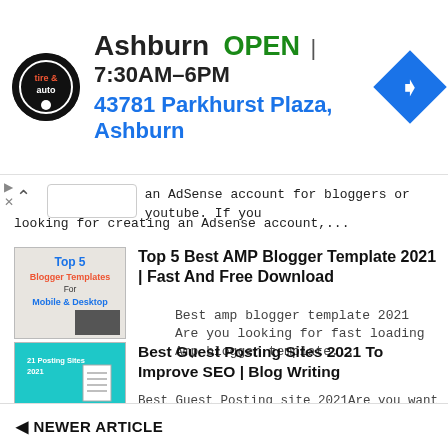[Figure (screenshot): Ad banner for tire & auto shop in Ashburn. Shows store logo, OPEN status, hours 7:30AM-6PM, address 43781 Parkhurst Plaza Ashburn, and blue navigation arrow icon.]
an AdSense account for bloggers or youtube. If you looking for creating an Adsense account,...
[Figure (photo): Thumbnail image showing Top 5 Blogger Templates For Mobile & Desktop text on dark background]
Top 5 Best AMP Blogger Template 2021 | Fast And Free Download
Best amp blogger template 2021 Are you looking for fast loading Amp blogger template...
[Figure (photo): Thumbnail image on cyan/teal background showing 21 Posting Sites with High DA PA text and document icon]
Best Guest Posting Sites 2021 To Improve SEO | Blog Writing
Best Guest Posting site 2021Are you want to improve SEO Ranking on google or improve DA, PA with the help of blog writing, and want to get a high-qual...
NEWER ARTICLE